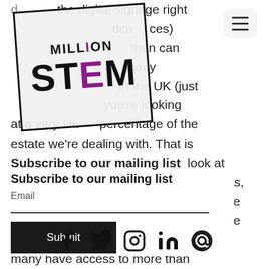[Figure (logo): Million STEM logo — black square bracket frame on light grey background, text MILLION in bold with ON in purple, STEM in large bold black with E in purple, rotated slightly]
[Figure (other): Hamburger menu icon — three horizontal lines in rounded rectangle]
the digital signage right decade ces) then can many in the UK (just you're looking at a very sh... percentage of the estate we're dealing with. That is
Subscribe to our mailing list look at itates, office is the and many have access to more than one IT device.
Email
Submit
[Figure (infographic): Social media icons row: Facebook, Twitter, Instagram, LinkedIn, email/at symbol]